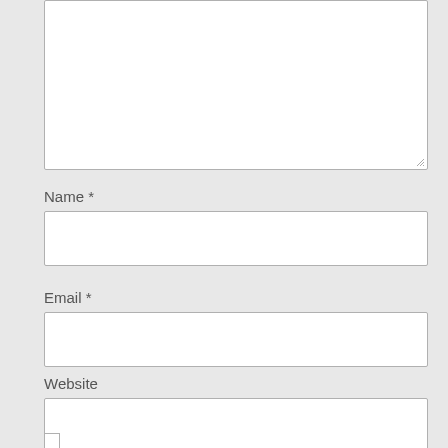[Figure (other): Large textarea input box (comment/message field) with resize handle at bottom-right corner]
Name *
[Figure (other): Single-line text input box for Name field]
Email *
[Figure (other): Single-line text input box for Email field]
Website
[Figure (other): Single-line text input box for Website field]
[Figure (other): Checkbox input (unchecked)]